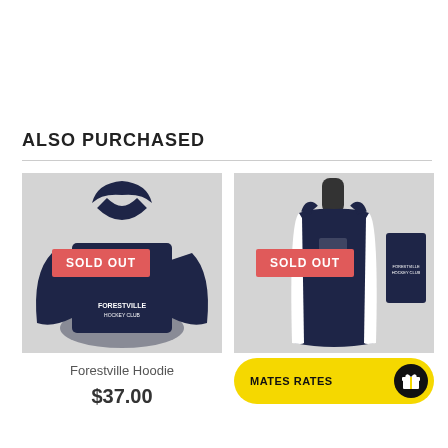ALSO PURCHASED
[Figure (photo): Navy Forestville Hockey Club hoodie on a grey background with a 'SOLD OUT' badge in red]
[Figure (photo): Navy Forestville Hockey Club singlet/tank top on a mannequin with a back view on grey background with a 'SOLD OUT' badge in red]
Forestville Hoodie
$37.00
MATES RATES